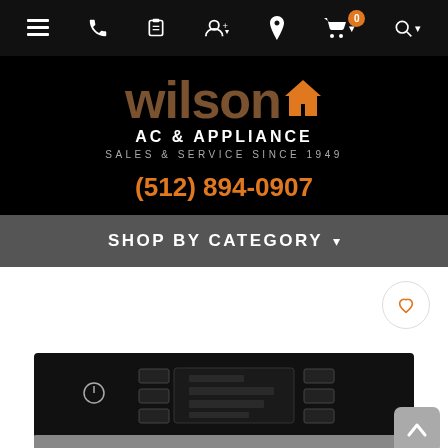Navigation bar with menu, phone, account, location, cart (0), and search icons
[Figure (logo): Wilson AC & Appliance logo on black background with text 'AC & APPLIANCE', 'SALES & SERVICE SINCE 1949', and phone number '(512) 894-0907']
SHOP BY CATEGORY
[Figure (photo): Close-up of a black appliance control panel (oven/dishwasher) with digital display and touch buttons, partially visible at the bottom of the page. A back-to-top arrow button is shown in the bottom right corner.]